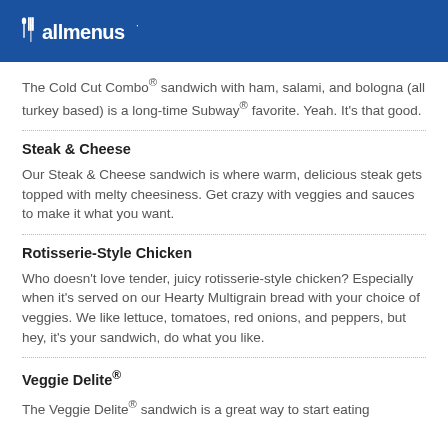allmenus
The Cold Cut Combo® sandwich with ham, salami, and bologna (all turkey based) is a long-time Subway® favorite. Yeah. It's that good.
Steak & Cheese
Our Steak & Cheese sandwich is where warm, delicious steak gets topped with melty cheesiness. Get crazy with veggies and sauces to make it what you want.
Rotisserie-Style Chicken
Who doesn't love tender, juicy rotisserie-style chicken? Especially when it's served on our Hearty Multigrain bread with your choice of veggies. We like lettuce, tomatoes, red onions, and peppers, but hey, it's your sandwich, do what you like.
Veggie Delite®
The Veggie Delite® sandwich is a great way to start eating...